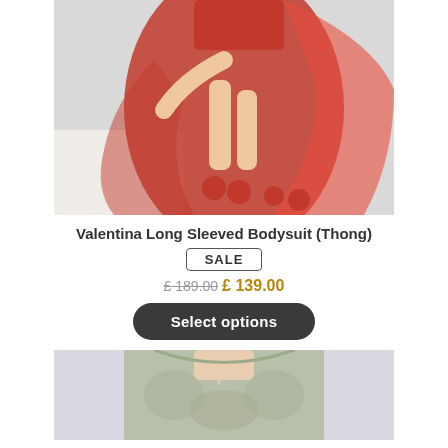[Figure (photo): Woman wearing a red long sheer bodysuit with red pom-pom slippers, sitting on a white chair. Red flowing fabric visible.]
Valentina Long Sleeved Bodysuit (Thong)
SALE
£ 189.00 £ 139.00
Select options
[Figure (photo): Woman wearing a sage green lace long-sleeved bodysuit with a keyhole neckline and button detail.]